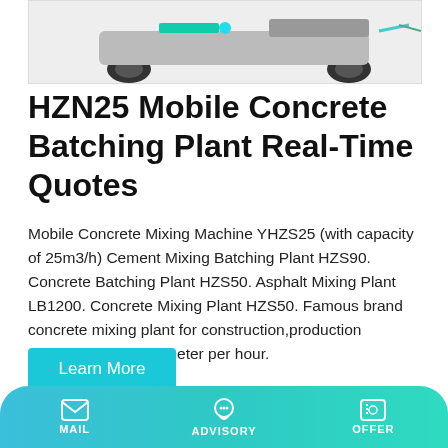[Figure (photo): Partial view of a mobile concrete batching plant machine with wheels and green mechanical components on a light grey background]
HZN25 Mobile Concrete Batching Plant Real-Time Quotes
Mobile Concrete Mixing Machine YHZS25 (with capacity of 25m3/h) Cement Mixing Batching Plant HZS90. Concrete Batching Plant HZS50. Asphalt Mixing Plant LB1200. Concrete Mixing Plant HZS50. Famous brand concrete mixing plant for construction,production capacity is 90 cube meter per hour.
[Figure (photo): Partial view of another machine, showing a grey cylindrical drum component with green accents on a light grey background]
MAIL   ADVISORY   OFFER